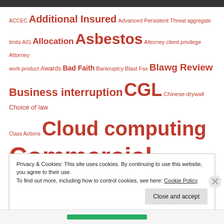[Figure (infographic): Tag cloud of insurance and legal terms in red text, varying font sizes indicating frequency/importance. Terms include: ACCEC, Additional Insured, Advanced Persistent Threat, aggregate limits, AIG, Allocation, Asbestos, Attorney client privilege, Attorney work product, Awards, Bad Faith, Bankruptcy, Blast Fax, Blawg Review, Business interruption, CGL, Chinese drywall, Choice of law, Class Actions, Cloud computing, Commercial General Liability, Comprehensive General Liability, computer]
Privacy & Cookies: This site uses cookies. By continuing to use this website, you agree to their use.
To find out more, including how to control cookies, see here: Cookie Policy